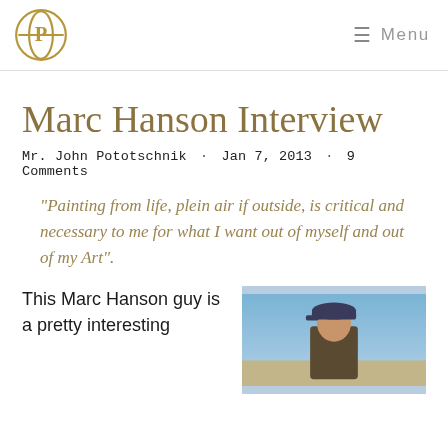Menu
Marc Hanson Interview
Mr. John Pototschnik · Jan 7, 2013 · 9 Comments
“Painting from life, plein air if outside, is critical and necessary to me for what I want out of myself and out of my Art”.
This Marc Hanson guy is a pretty interesting
[Figure (photo): Photo of Marc Hanson outdoors wearing a baseball cap, with blue sky in background]